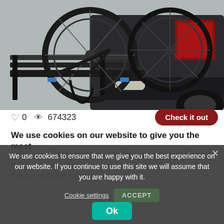[Figure (photo): Two bicycles mounted on a hitch-mounted bike rack attached to the rear of a dark SUV. The rack holds the bikes horizontally with black metal trays and straps. The car's red tail lights and reflectors are visible.]
♡ 0  👁 674323
Check it out
We use cookies on our website to give you the most relevant experience by remembering your preferences. By clicking "Accept", the use of ALL the cookies.
We use cookies to ensure that we give you the best experience on our website. If you continue to use this site we will assume that you are happy with it.
Cookie settings
ACCEPT
Ok